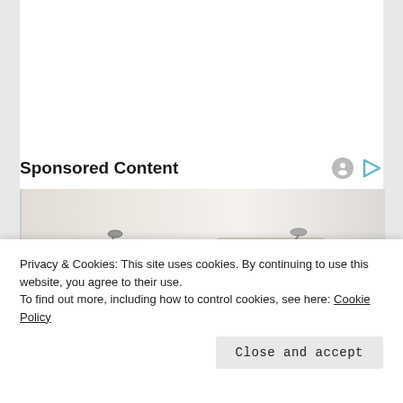Sponsored Content
[Figure (photo): Advertisement photo showing a high-end modular sofa/sectional with built-in speakers, side tables, and reclining sections in cream and brown tones]
Privacy & Cookies: This site uses cookies. By continuing to use this website, you agree to their use.
To find out more, including how to control cookies, see here: Cookie Policy
Close and accept